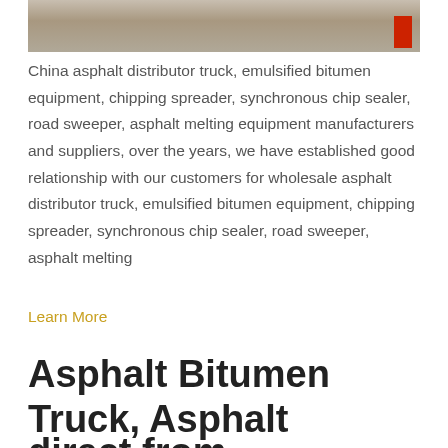[Figure (photo): Partial view of industrial road equipment/asphalt machinery in a warehouse or manufacturing facility. A red element is visible on the right side.]
China asphalt distributor truck, emulsified bitumen equipment, chipping spreader, synchronous chip sealer, road sweeper, asphalt melting equipment manufacturers and suppliers, over the years, we have established good relationship with our customers for wholesale asphalt distributor truck, emulsified bitumen equipment, chipping spreader, synchronous chip sealer, road sweeper, asphalt melting
Learn More
Asphalt Bitumen Truck, Asphalt Bitumen Truck
direct from